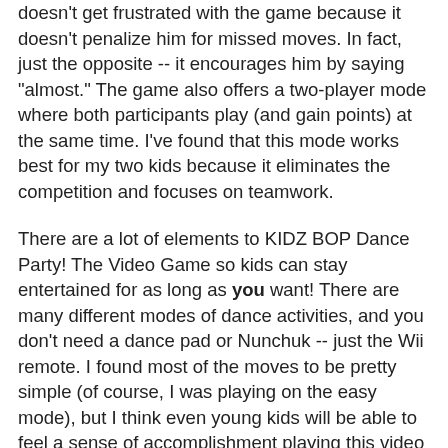doesn't get frustrated with the game because it doesn't penalize him for missed moves. In fact, just the opposite -- it encourages him by saying "almost." The game also offers a two-player mode where both participants play (and gain points) at the same time. I've found that this mode works best for my two kids because it eliminates the competition and focuses on teamwork.
There are a lot of elements to KIDZ BOP Dance Party! The Video Game so kids can stay entertained for as long as you want! There are many different modes of dance activities, and you don't need a dance pad or Nunchuk -- just the Wii remote. I found most of the moves to be pretty simple (of course, I was playing on the easy mode), but I think even young kids will be able to feel a sense of accomplishment playing this video game. For the most part, I found the songs and dances were catchy; and I have to say that I did get a bit of a workout -- my arms actually got a little fatigued! In addition to dancing to 24 different KIDZ BOP songs (new songs open as you complete each level), kids can create and customize their own dance character. As the play accumulates more points for their dance movies, he or she